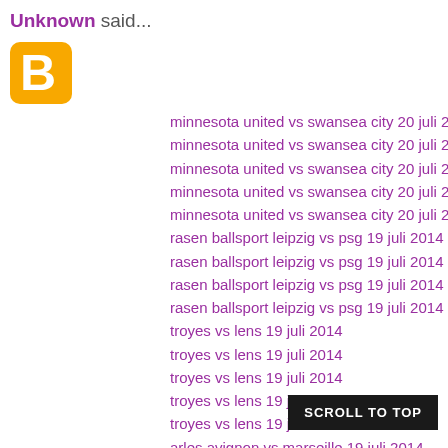Unknown said...
[Figure (logo): Blogger orange 'B' logo icon]
minnesota united vs swansea city 20 juli 2014
minnesota united vs swansea city 20 juli 2014
minnesota united vs swansea city 20 juli 2014
minnesota united vs swansea city 20 juli 2014
minnesota united vs swansea city 20 juli 2014
rasen ballsport leipzig vs psg 19 juli 2014
rasen ballsport leipzig vs psg 19 juli 2014
rasen ballsport leipzig vs psg 19 juli 2014
rasen ballsport leipzig vs psg 19 juli 2014
troyes vs lens 19 juli 2014
troyes vs lens 19 juli 2014
troyes vs lens 19 juli 2014
troyes vs lens 19 juli 2014
troyes vs lens 19 juli 2014
arles avignon vs marseille 19 juli 2014
arles avignon vs marseille 19 juli 2014
arles avignon vs marseille 19 juli 2014
arles avignon vs marseille 19 juli 2014